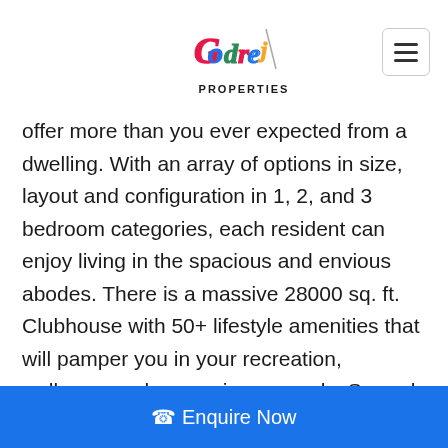Godrej Properties
offer more than you ever expected from a dwelling. With an array of options in size, layout and configuration in 1, 2, and 3 bedroom categories, each resident can enjoy living in the spacious and envious abodes. There is a massive 28000 sq. ft. Clubhouse with 50+ lifestyle amenities that will pamper you in your recreation, wellness, and convenience needs. Spread across an expanse of 1.64 hectares of greenery, you can enjoy fun-filled outdoor activities in the lap of nature. A never-before
☎ Enquire Now